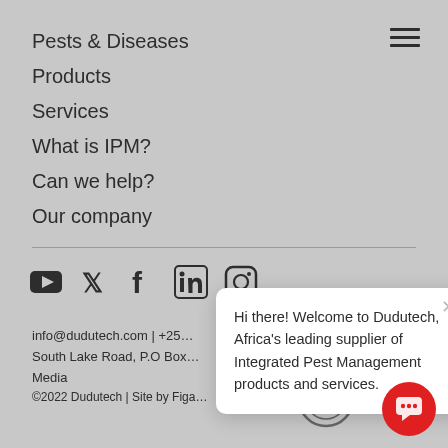Pests & Diseases
Products
Services
What is IPM?
Can we help?
Our company
[Figure (other): Social media icons: YouTube, Twitter, Facebook, LinkedIn, Instagram]
info@dudutech.com | +25...
South Lake Road, P.O Box...
Media
©2022 Dudutech | Site by Figa...
[Figure (other): ISO 9001:2008 SGS certification badge]
Hi there! Welcome to Dudutech, Africa's leading supplier of Integrated Pest Management products and services.
[Figure (other): Red chat button with speech bubble icon]